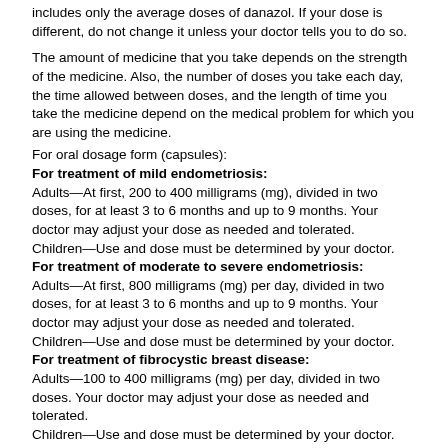includes only the average doses of danazol. If your dose is different, do not change it unless your doctor tells you to do so.
The amount of medicine that you take depends on the strength of the medicine. Also, the number of doses you take each day, the time allowed between doses, and the length of time you take the medicine depend on the medical problem for which you are using the medicine.
For oral dosage form (capsules):
For treatment of mild endometriosis:
Adults—At first, 200 to 400 milligrams (mg), divided in two doses, for at least 3 to 6 months and up to 9 months. Your doctor may adjust your dose as needed and tolerated.
Children—Use and dose must be determined by your doctor.
For treatment of moderate to severe endometriosis:
Adults—At first, 800 milligrams (mg) per day, divided in two doses, for at least 3 to 6 months and up to 9 months. Your doctor may adjust your dose as needed and tolerated.
Children—Use and dose must be determined by your doctor.
For treatment of fibrocystic breast disease:
Adults—100 to 400 milligrams (mg) per day, divided in two doses. Your doctor may adjust your dose as needed and tolerated.
Children—Use and dose must be determined by your doctor.
For prevention of hereditary angioedema:
Adults—At first, 200 milligrams (mg) two or three times a day. Your doctor may adjust your dose as needed and depending upon your condition.
Children—Use and dose must be determined by your doctor.